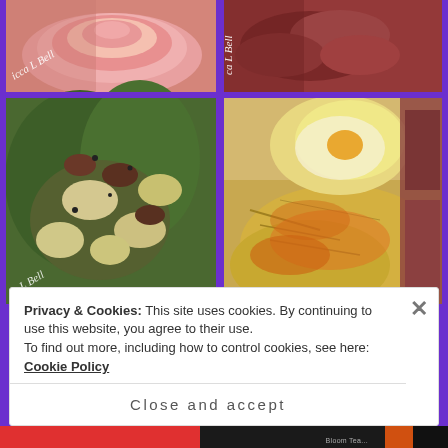[Figure (photo): Grid of food photos on purple background showing various dishes: pink frosted cupcake/cake, meat dish with sauce, creamy spinach gnocchi dish, hash browns with eggs and sausage, and partial views of more food photos. Watermarks reading 'icca L Bell' and 'ca L Bell' visible on top row images.]
Privacy & Cookies: This site uses cookies. By continuing to use this website, you agree to their use.
To find out more, including how to control cookies, see here: Cookie Policy
Close and accept